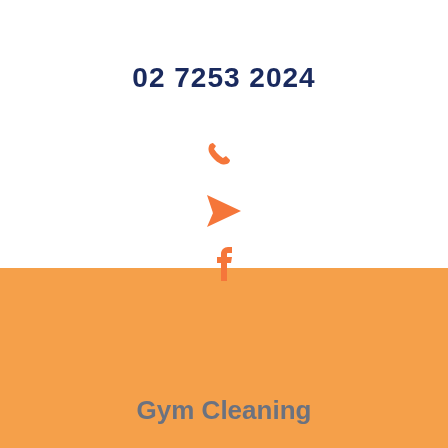02 7253 2024
[Figure (illustration): Orange phone icon]
[Figure (illustration): Orange paper plane / send icon]
[Figure (illustration): Orange Facebook 'f' icon]
Gym Cleaning